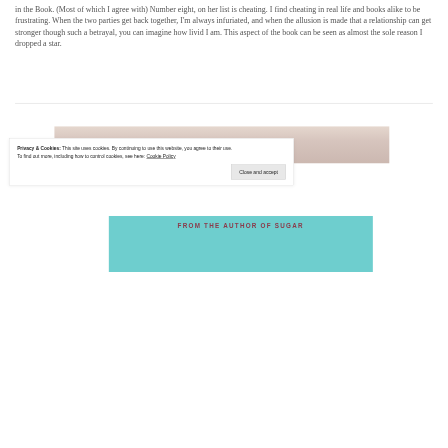in the Book. (Most of which I agree with) Number eight, on her list is cheating. I find cheating in real life and books alike to be frustrating. When the two parties get back together, I'm always infuriated, and when the allusion is made that a relationship can get stronger though such a betrayal, you can imagine how livid I am. This aspect of the book can be seen as almost the sole reason I dropped a star.
[Figure (other): Book advertisement banner with teal background reading 'FROM THE AUTHOR OF SUGAR' with a floral/blurred photo strip below]
Privacy & Cookies: This site uses cookies. By continuing to use this website, you agree to their use.
To find out more, including how to control cookies, see here: Cookie Policy
Close and accept